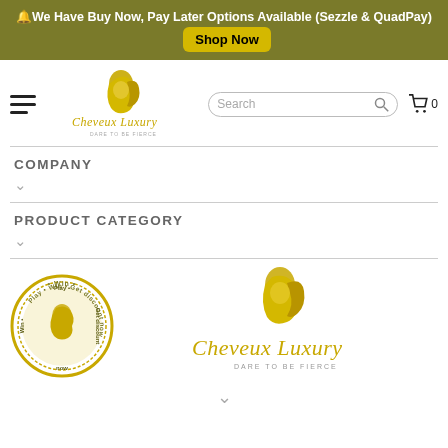🔔We Have Buy Now, Pay Later Options Available (Sezzle & QuadPay)  Shop Now
[Figure (logo): Cheveux Luxury logo with golden woman silhouette and cursive text 'Cheveux Luxury, DARE TO BE FIERCE']
Search
COMPANY
PRODUCT CATEGORY
[Figure (logo): Circular badge: Play • Win • Get discount now with golden Cheveux Luxury squirrel logo]
[Figure (logo): Cheveux Luxury full logo: golden woman silhouette with cursive text 'Cheveux Luxury DARE TO BE FIERCE']